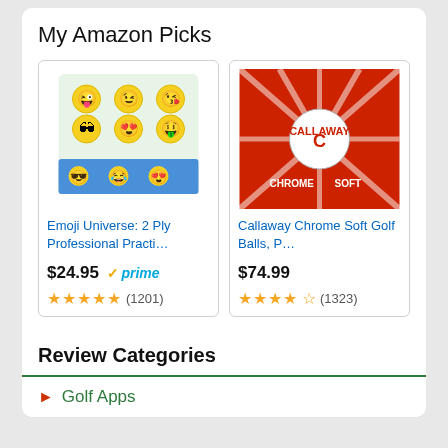My Amazon Picks
[Figure (screenshot): Emoji Universe: 2 Ply Professional Practic... golf ball product image - box of emoji face golf balls]
Emoji Universe: 2 Ply Professional Practi...
$24.95 ✓prime
★★★★★ (1201)
[Figure (screenshot): Callaway Chrome Soft Golf Balls product image - red box with Callaway branding]
Callaway Chrome Soft Golf Balls, P...
$74.99
★★★★★ (1323)
Search Amazon
Ads by Amazon ▷
Review Categories
Golf Apps